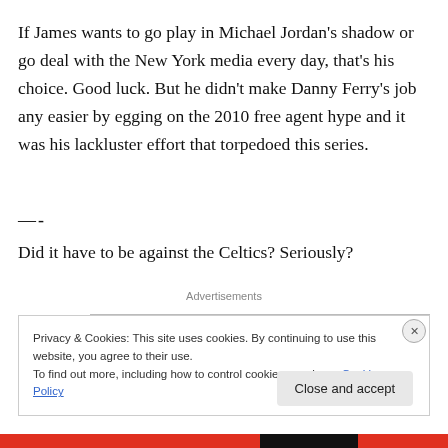If James wants to go play in Michael Jordan's shadow or go deal with the New York media every day, that's his choice. Good luck. But he didn't make Danny Ferry's job any easier by egging on the 2010 free agent hype and it was his lackluster effort that torpedoed this series.
—-
Did it have to be against the Celtics? Seriously?
Advertisements
Privacy & Cookies: This site uses cookies. By continuing to use this website, you agree to their use.
To find out more, including how to control cookies, see here: Cookie Policy
Close and accept